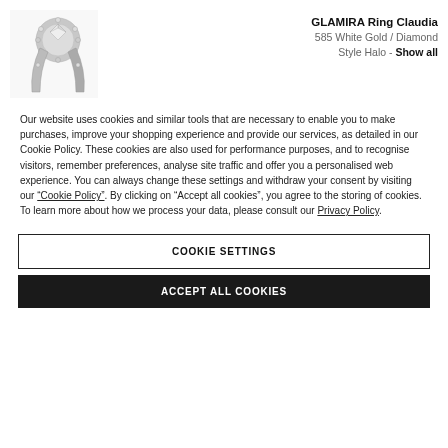[Figure (photo): Product photo of GLAMIRA Ring Claudia in 585 White Gold with Diamond, Style Halo. Shows a diamond halo ring photographed at an angle.]
GLAMIRA Ring Claudia
585 White Gold / Diamond
Style Halo - Show all
Our website uses cookies and similar tools that are necessary to enable you to make purchases, improve your shopping experience and provide our services, as detailed in our Cookie Policy. These cookies are also used for performance purposes, and to recognise visitors, remember preferences, analyse site traffic and offer you a personalised web experience. You can always change these settings and withdraw your consent by visiting our “Cookie Policy”. By clicking on “Accept all cookies”, you agree to the storing of cookies. To learn more about how we process your data, please consult our Privacy Policy.
COOKIE SETTINGS
ACCEPT ALL COOKIES